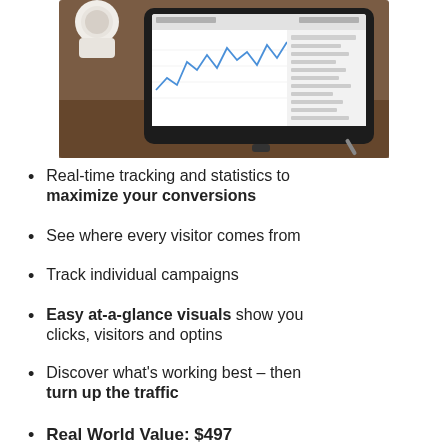[Figure (photo): A tablet computer on a wooden desk displaying a web analytics dashboard with line charts and data tables, with a white coffee cup visible in the background.]
Real-time tracking and statistics to maximize your conversions
See where every visitor comes from
Track individual campaigns
Easy at-a-glance visuals show you clicks, visitors and optins
Discover what's working best – then turn up the traffic
Real World Value: $497